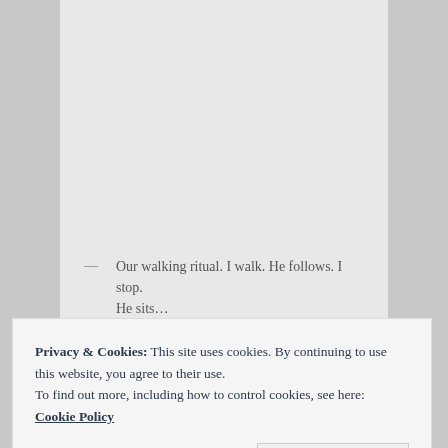[Figure (photo): A light gray placeholder image area occupying the upper portion of the card]
— Our walking ritual. I walk. He follows. I stop. He sits...
Privacy & Cookies: This site uses cookies. By continuing to use this website, you agree to their use.
To find out more, including how to control cookies, see here:
Cookie Policy
Close and accept